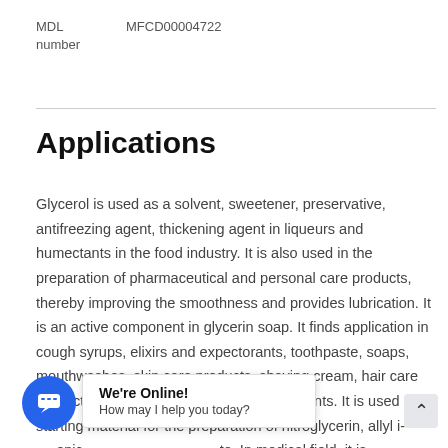MDL number    MFCD00004722
Applications
Glycerol is used as a solvent, sweetener, preservative, antifreezing agent, thickening agent in liqueurs and humectants in the food industry. It is also used in the preparation of pharmaceutical and personal care products, thereby improving the smoothness and provides lubrication. It is an active component in glycerin soap. It finds application in cough syrups, elixirs and expectorants, toothpaste, soaps, mouthwashes, skin care products, shaving cream, hair care products, and water-based personal lubricants. It is used as a starting material for the preparation of nitroglycerin, allyl i... epic... te. In medical field, it is a... ction in the intern pressure of the cy... involved to aid in casting